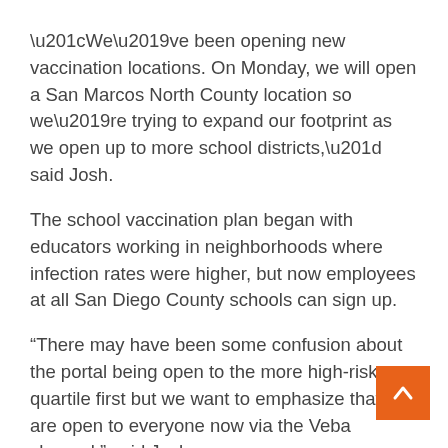“We’ve been opening new vaccination locations. On Monday, we will open a San Marcos North County location so we’re trying to expand our footprint as we open up to more school districts,” said Josh.
The school vaccination plan began with educators working in neighborhoods where infection rates were higher, but now employees at all San Diego County schools can sign up.
“There may have been some confusion about the portal being open to the more high-risk quartile first but we want to emphasize that we are open to everyone now via the Veba channel,” said Josh.
Josh says the biggest challenge now is making sure there is enough vaccine supply.